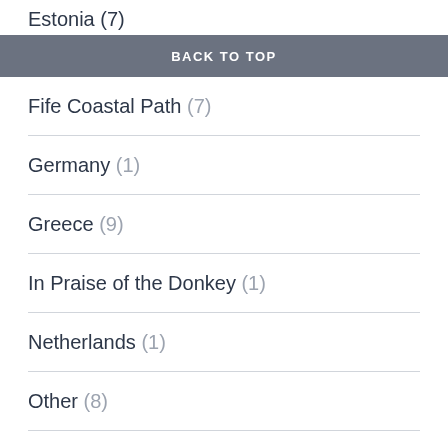Estonia (7)
BACK TO TOP
Fife Coastal Path (7)
Germany (1)
Greece (9)
In Praise of the Donkey (1)
Netherlands (1)
Other (8)
Other People's Blogs (2)
Portugal (20)
Shetland (6)